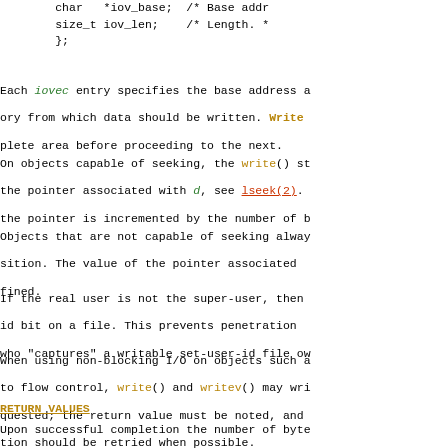char   *iov_base;  /* Base addr
    size_t iov_len;      /* Length. *
};
Each iovec entry specifies the base address a ory from which data should be written. Write plete area before proceeding to the next.
On objects capable of seeking, the write() st the pointer associated with d, see lseek(2). the pointer is incremented by the number of b
Objects that are not capable of seeking alway sition. The value of the pointer associated fined.
If the real user is not the super-user, then id bit on a file. This prevents penetration who "captures" a writable set-user-id file ow
When using non-blocking I/O on objects such a to flow control, write() and writev() may wri quested; the return value must be noted, and tion should be retried when possible.
RETURN VALUES
Upon successful completion the number of byte turned. Otherwise a -1 is returned and the g